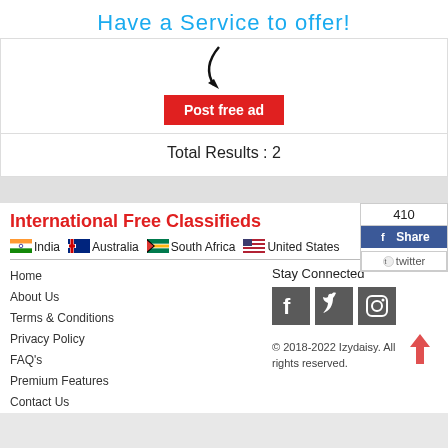Have a Service to offer!
[Figure (illustration): Curved black arrow pointing downward toward a red button]
Post free ad
Total Results : 2
International Free Classifieds
[Figure (infographic): Social share box showing count 410, Facebook Share button, and Twitter button]
India  Australia  South Africa  United States  Show All
Home
About Us
Terms & Conditions
Privacy Policy
FAQ's
Premium Features
Contact Us
Stay Connected
[Figure (illustration): Three social media icons: Facebook, Twitter, Instagram]
© 2018-2022 Izydaisy. All rights reserved.
[Figure (illustration): Red upward arrow back-to-top button]